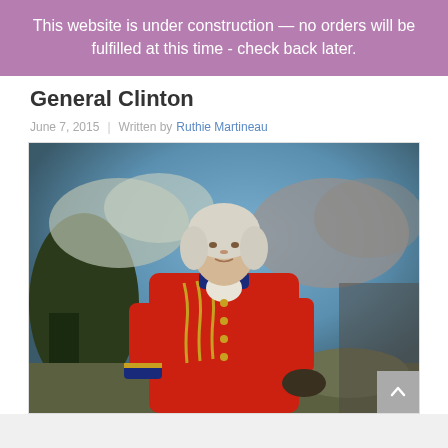This website is under construction — no orders will be fulfilled at this time - check back later.
General Clinton
June 7, 2015  |  Written by Ruthie Martineau
[Figure (photo): Portrait painting of General Clinton in a red British military coat with gold braiding and blue collar, white powdered wig, painted in classical style against a cloudy sky background.]